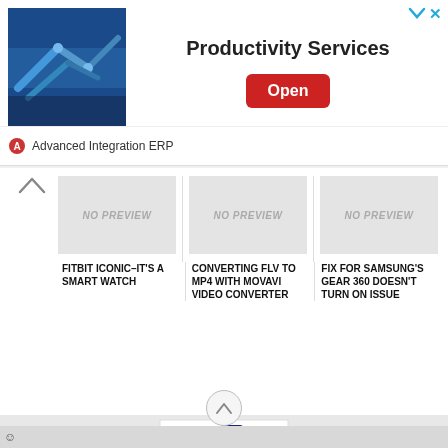[Figure (screenshot): Advertisement banner for Advanced Integration ERP Productivity Services with industrial machinery image, Open button, and ad icons]
[Figure (screenshot): NO PREVIEW card image placeholder - Fitbit Iconic smart watch article]
FITBIT ICONIC–IT'S A SMART WATCH
[Figure (screenshot): NO PREVIEW card image placeholder - Converting FLV to MP4 with Movavi Video Converter article]
CONVERTING FLV TO MP4 WITH MOVAVI VIDEO CONVERTER
[Figure (screenshot): NO PREVIEW card image placeholder - Fix for Samsung's Gear 360 Doesn't Turn On Issue article]
FIX FOR SAMSUNG'S GEAR 360 DOESN'T TURN ON ISSUE
[Figure (logo): MobilityDigest MOD logo with blue M, phone icon, and red D]
© 2022 MOBILITYDIGEST. ASK THE READERS